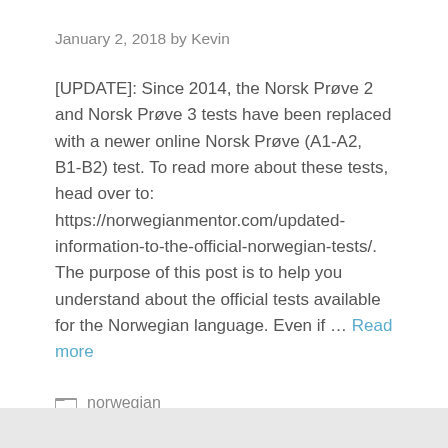January 2, 2018 by Kevin
[UPDATE]: Since 2014, the Norsk Prøve 2 and Norsk Prøve 3 tests have been replaced with a newer online Norsk Prøve (A1-A2, B1-B2) test. To read more about these tests, head over to: https://norwegianmentor.com/updated-information-to-the-official-norwegian-tests/. The purpose of this post is to help you understand about the official tests available for the Norwegian language. Even if … Read more
norwegian
16 Comments